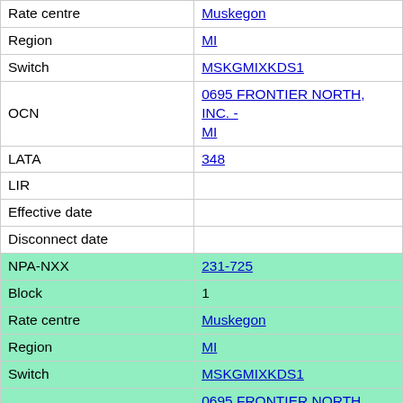| Field | Value |
| --- | --- |
| Rate centre | Muskegon |
| Region | MI |
| Switch | MSKGMIXKDS1 |
| OCN | 0695 FRONTIER NORTH, INC. - MI |
| LATA | 348 |
| LIR |  |
| Effective date |  |
| Disconnect date |  |
| NPA-NXX | 231-725 |
| Block | 1 |
| Rate centre | Muskegon |
| Region | MI |
| Switch | MSKGMIXKDS1 |
| OCN | 0695 FRONTIER NORTH, INC. - MI |
| LATA | 348 |
| LIR |  |
| Effective date |  |
| Disconnect date |  |
| NPA-NXX | 231-725 |
| Block | 2 |